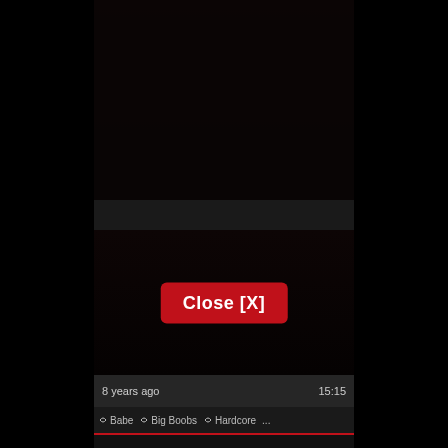[Figure (screenshot): Dark video thumbnail area at top showing dimly lit figures]
[Figure (screenshot): Dark video player area with a red Close [X] button overlay in the center]
8 years ago
15:15
Babe
Big Boobs
Hardcore
...